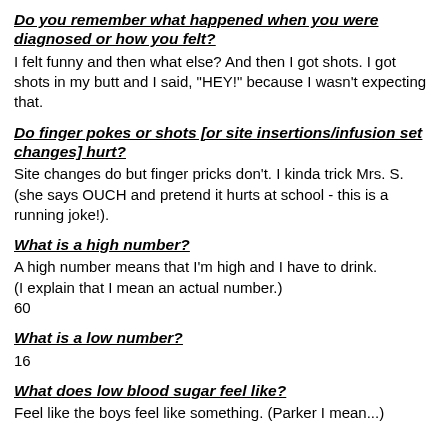Do you remember what happened when you were diagnosed or how you felt?
I felt funny and then what else?  And then I got shots.  I got shots in my butt and I said, "HEY!" because I wasn't expecting that.
Do finger pokes or shots [or site insertions/infusion set changes] hurt?
Site changes do but finger pricks don't.  I kinda trick Mrs. S. (she says OUCH and pretend it hurts at school - this is a running joke!).
What is a high number?
A high number means that I'm high and I have to drink. (I explain that I mean an actual number.)
60
What is a low number?
16
What does low blood sugar feel like?
Feel like the boys feel like something. (Parker I mean...)